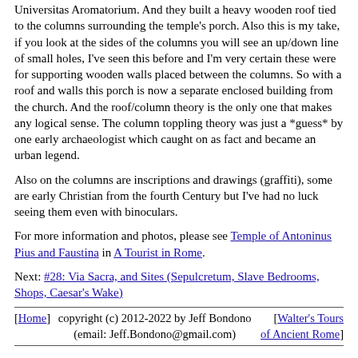Universitas Aromatorium. And they built a heavy wooden roof tied to the columns surrounding the temple's porch. Also this is my take, if you look at the sides of the columns you will see an up/down line of small holes, I've seen this before and I'm very certain these were for supporting wooden walls placed between the columns. So with a roof and walls this porch is now a separate enclosed building from the church. And the roof/column theory is the only one that makes any logical sense. The column toppling theory was just a *guess* by one early archaeologist which caught on as fact and became an urban legend.
Also on the columns are inscriptions and drawings (graffiti), some are early Christian from the fourth Century but I've had no luck seeing them even with binoculars.
For more information and photos, please see Temple of Antoninus Pius and Faustina in A Tourist in Rome.
Next: #28: Via Sacra, and Sites (Sepulcretum, Slave Bedrooms, Shops, Caesar's Wake)
[Home]   copyright (c) 2012-2022 by Jeff Bondono (email: Jeff.Bondono@gmail.com)   [Walter's Tours of Ancient Rome]